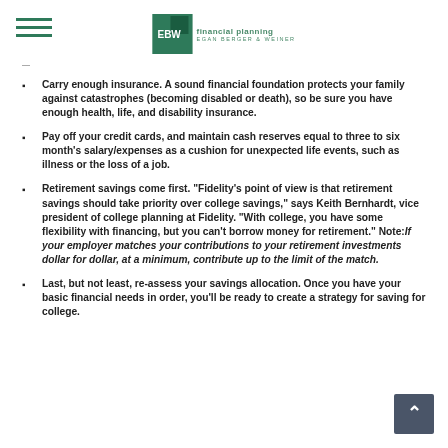EBW financial planning - EGAN BERGER & WEINER
Carry enough insurance. A sound financial foundation protects your family against catastrophes (becoming disabled or death), so be sure you have enough health, life, and disability insurance.
Pay off your credit cards, and maintain cash reserves equal to three to six month’s salary/expenses as a cushion for unexpected life events, such as illness or the loss of a job.
Retirement savings come first. “Fidelity’s point of view is that retirement savings should take priority over college savings,” says Keith Bernhardt, vice president of college planning at Fidelity. “With college, you have some flexibility with financing, but you can’t borrow money for retirement.” Note: If your employer matches your contributions to your retirement investments dollar for dollar, at a minimum, contribute up to the limit of the match.
Last, but not least, re-assess your savings allocation. Once you have your basic financial needs in order, you’ll be ready to create a strategy for saving for college.